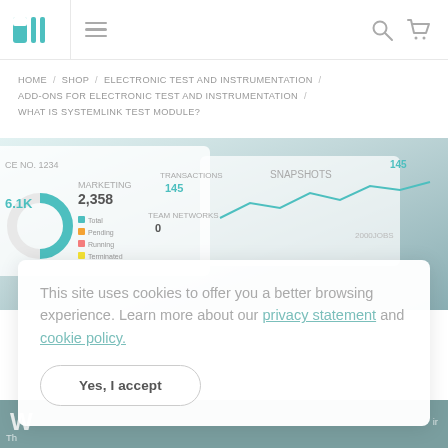NI logo / navigation header with hamburger menu, search icon, cart icon
HOME / SHOP / ELECTRONIC TEST AND INSTRUMENTATION / ADD-ONS FOR ELECTRONIC TEST AND INSTRUMENTATION / WHAT IS SYSTEMLINK TEST MODULE?
[Figure (screenshot): Dashboard screenshot showing analytics charts and metrics in a web interface, partially visible]
This site uses cookies to offer you a better browsing experience. Learn more about our privacy statement and cookie policy.
Yes, I accept
W...  Th...  ir